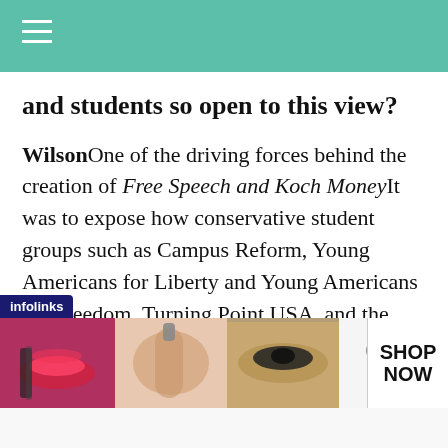and students so open to this view?
WilsonOne of the driving forces behind the creation of Free Speech and Koch MoneyIt was to expose how conservative student groups such as Campus Reform, Young Americans for Liberty and Young Americans for Freedom, Turning Point USA, and the legal organizations that threaten to sue ersities for their behalf are linked. If they
[Figure (screenshot): Infolinks advertisement banner showing Ulta Beauty cosmetics ad with images of makeup and text SHOP NOW]